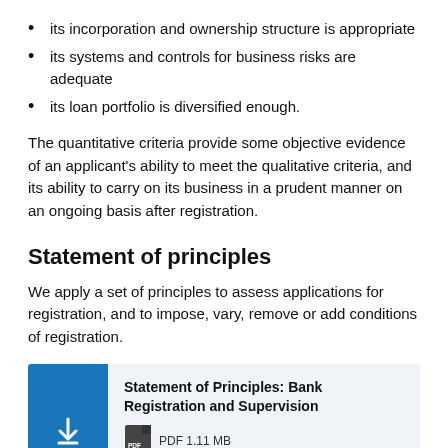its incorporation and ownership structure is appropriate
its systems and controls for business risks are adequate
its loan portfolio is diversified enough.
The quantitative criteria provide some objective evidence of an applicant's ability to meet the qualitative criteria, and its ability to carry on its business in a prudent manner on an ongoing basis after registration.
Statement of principles
We apply a set of principles to assess applications for registration, and to impose, vary, remove or add conditions of registration.
[Figure (other): Document download card with blue sidebar containing download arrow icon, title 'Statement of Principles: Bank Registration and Supervision', PDF icon with 'PDF 1.11 MB', and 'Download pdf' link]